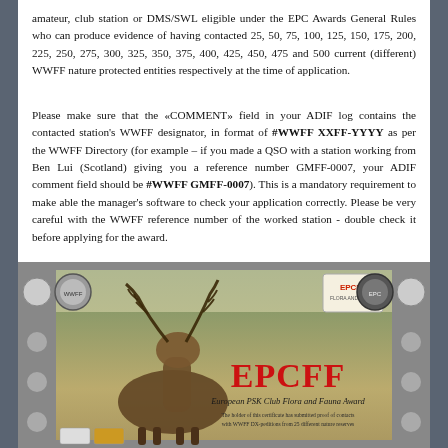amateur, club station or DMS/SWL eligible under the EPC Awards General Rules who can produce evidence of having contacted 25, 50, 75, 100, 125, 150, 175, 200, 225, 250, 275, 300, 325, 350, 375, 400, 425, 450, 475 and 500 current (different) WWFF nature protected entities respectively at the time of application.
Please make sure that the «COMMENT» field in your ADIF log contains the contacted station's WWFF designator, in format of #WWFF XXFF-YYYY as per the WWFF Directory (for example – if you made a QSO with a station working from Ben Lui (Scotland) giving you a reference number GMFF-0007, your ADIF comment field should be #WWFF GMFF-0007). This is a mandatory requirement to make able the manager's software to check your application correctly. Please be very careful with the WWFF reference number of the worked station - double check it before applying for the award.
[Figure (illustration): EPCFF European PSK Club Flora and Fauna Award certificate image showing a red deer stag in a forest, with decorative border, EPCFF logo, and text 'The holder of this certificate has submitted proof of contacts with WWFF DX-peditions from 25 different nature reserves']